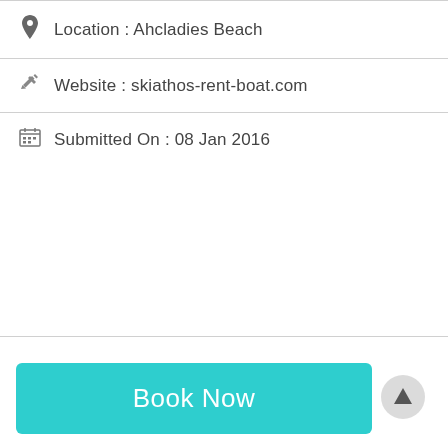Location : Ahcladies Beach
Website : skiathos-rent-boat.com
Submitted On : 08 Jan 2016
Next ›
Book Now